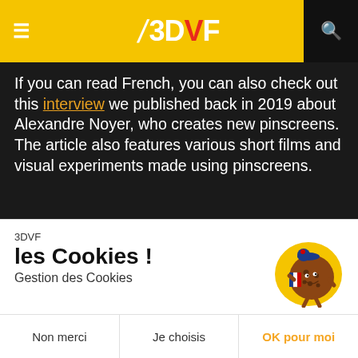3DVF
If you can read French, you can also check out this interview we published back in 2019 about Alexandre Noyer, who creates new pinscreens. The article also features various short films and visual experiments made using pinscreens.
3DVF les Cookies ! Gestion des Cookies
[Figure (illustration): Cartoon cookie character wearing a French beret and holding a French flag, on a yellow circular background]
On a attendu d'être sûrs que le contenu de ce site vous intéresse avant de vous déranger, mais on aimerait bien vous accompagner pendant votre visite... C'est OK pour vous ?
Consentements certifiés par axeptio
Non merci    Je choisis    OK pour moi